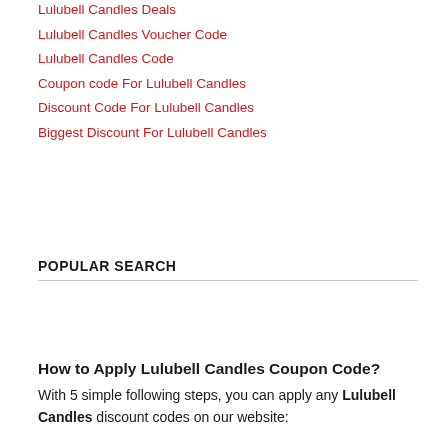Lulubell Candles Deals
Lulubell Candles Voucher Code
Lulubell Candles Code
Coupon code For Lulubell Candles
Discount Code For Lulubell Candles
Biggest Discount For Lulubell Candles
POPULAR SEARCH
How to Apply Lulubell Candles Coupon Code?
With 5 simple following steps, you can apply any Lulubell Candles discount codes on our website: